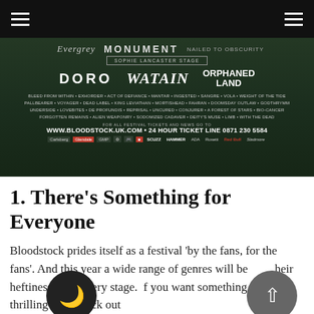[Figure (photo): Bloodstock festival promotional banner on dark green/black background showing band names: Evergrey, Monument, Nailed to Obscurity, Sophie Lancaster Stage, Doro, Watain, Orphaned Land, and many more smaller bands listed. Website and ticket hotline at bottom with sponsor logos.]
1. There's Something for Everyone
Bloodstock prides itself as a festival 'by the fans, for the fans'. And this year a wide range of genres will be flexing their heftiness from every stage. If you want something classic or thrilling then check out